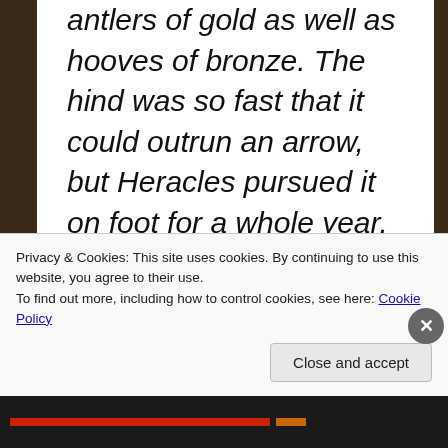antlers of gold as well as hooves of bronze. The hind was so fast that it could outrun an arrow, but Heracles pursued it on foot for a whole year. He finally caught it by shooting it with a (non-poisoned) arrow in the leg, either when it had stopped to drink or could run no further. King Eurystheus had intended for this task to bring Artemis' hatred on Heracles, but the hero begged forgiveness from the goddess who forgave him on the condition of the deer's safe return. King Eurystheus wished to keep the animal, but Heracles could no allow this and so
Privacy & Cookies: This site uses cookies. By continuing to use this website, you agree to their use.
To find out more, including how to control cookies, see here: Cookie Policy